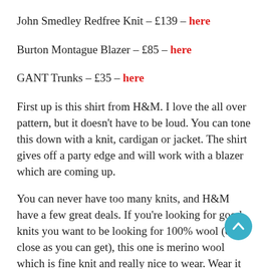John Smedley Redfree Knit – £139 – here
Burton Montague Blazer – £85 – here
GANT Trunks – £35 – here
First up is this shirt from H&M. I love the all over pattern, but it doesn't have to be loud. You can tone this down with a knit, cardigan or jacket. The shirt gives off a party edge and will work with a blazer which are coming up.
You can never have too many knits, and H&M have a few great deals. If you're looking for good knits you want to be looking for 100% wool (or as close as you can get), this one is merino wool which is fine knit and really nice to wear. Wear it